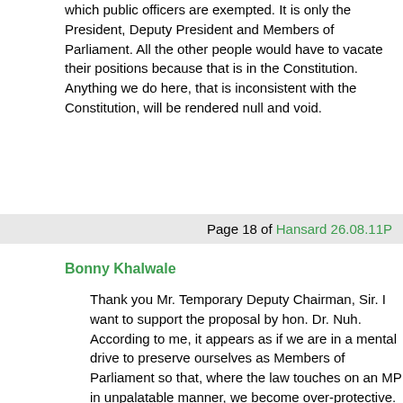which public officers are exempted. It is only the President, Deputy President and Members of Parliament. All the other people would have to vacate their positions because that is in the Constitution. Anything we do here, that is inconsistent with the Constitution, will be rendered null and void.
Page 18 of Hansard 26.08.11P
Bonny Khalwale
Thank you Mr. Temporary Deputy Chairman, Sir. I want to support the proposal by hon. Dr. Nuh. According to me, it appears as if we are in a mental drive to preserve ourselves as Members of Parliament so that, where the law touches on an MP in unpalatable manner, we become over-protective. There is nowhere in this Constitution where they say; “a Governor shall not.” Therefore, we will not be offending the same Constitution if we allow the Governor to be included in the list of the people who will be protected by this Act. I want to expand on the point of us being seen to preserve ourselves. On the vote that we have just taken, we have legislated in this House that a Governor and a Deputy Governor must have a degree. Since they are not here today, we have refused to put the same proviso for us, as Members of Parliament. If we think that something is good for a